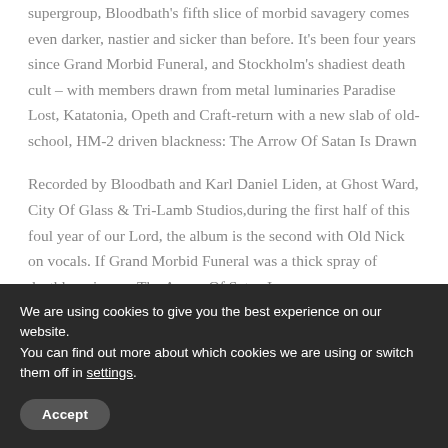supergroup, Bloodbath's fifth slice of morbid savagery comes even darker, nastier and sicker than before. It's been four years since Grand Morbid Funeral, and Stockholm's shadiest death cult – with members drawn from metal luminaries Paradise Lost, Katatonia, Opeth and Craft-return with a new slab of old-school, HM-2 driven blackness: The Arrow Of Satan Is Drawn
Recorded by Bloodbath and Karl Daniel Liden, at Ghost Ward, City Of Glass & Tri-Lamb Studios,during the first half of this foul year of our Lord, the album is the second with Old Nick on vocals. If Grand Morbid Funeral was a thick spray of deathly noise, on The Arrow Of Satan Is
We are using cookies to give you the best experience on our website.
You can find out more about which cookies we are using or switch them off in settings.
Accept